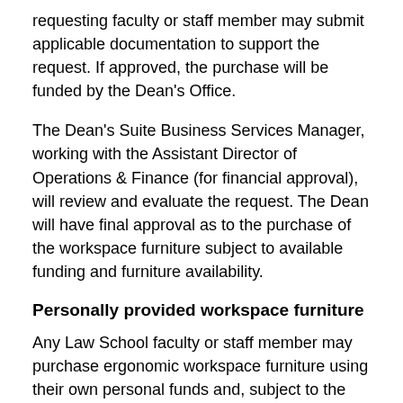requesting faculty or staff member may submit applicable documentation to support the request. If approved, the purchase will be funded by the Dean's Office.
The Dean's Suite Business Services Manager, working with the Assistant Director of Operations & Finance (for financial approval), will review and evaluate the request. The Dean will have final approval as to the purchase of the workspace furniture subject to available funding and furniture availability.
Personally provided workspace furniture
Any Law School faculty or staff member may purchase ergonomic workspace furniture using their own personal funds and, subject to the prior written approval of the Dean's Suite Business Services Manager following a space evaluation, bring the furniture to the Wolf Law Building for use within the confines of their workspace.